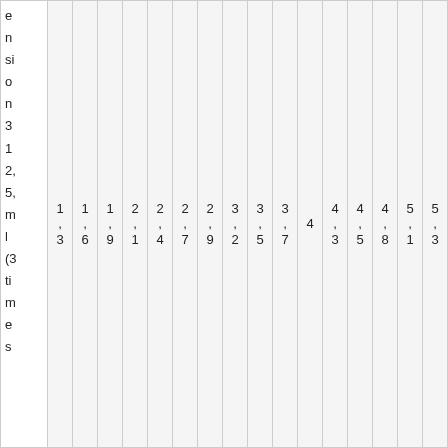|  | 1,3 | 1,6 | 1,9 | 2,1 | 2,4 | 2,7 | 2,9 | 3,2 | 3,5 | 3,7 | 4 | 4,3 | 4,5 | 4,8 | 5,1 | 5,3 |
| --- | --- | --- | --- | --- | --- | --- | --- | --- | --- | --- | --- | --- | --- | --- | --- | --- |
| e
n
si
o
n
3
1
2,
5,
m
l
(3
ti
m
e
s | 1,3 | 1,6 | 1,9 | 2,1 | 2,4 | 2,7 | 2,9 | 3,2 | 3,5 | 3,7 | 4 | 4,3 | 4,5 | 4,8 | 5,1 | 5,3 |